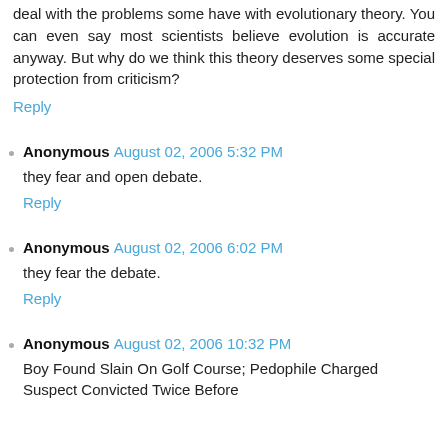deal with the problems some have with evolutionary theory. You can even say most scientists believe evolution is accurate anyway. But why do we think this theory deserves some special protection from criticism?
Reply
Anonymous  August 02, 2006 5:32 PM
they fear and open debate.
Reply
Anonymous  August 02, 2006 6:02 PM
they fear the debate.
Reply
Anonymous  August 02, 2006 10:32 PM
Boy Found Slain On Golf Course; Pedophile Charged Suspect Convicted Twice Before